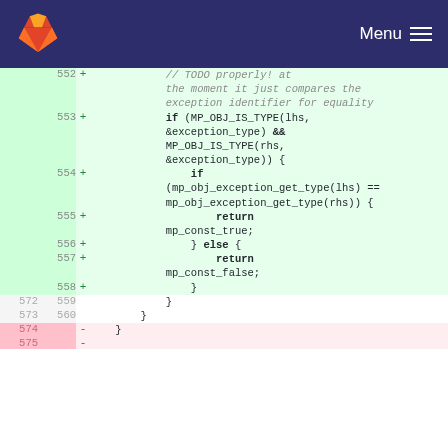[Figure (screenshot): GitLab navigation bar with fox logo and Menu hamburger button on dark navy background]
Code diff view showing lines 552-575 of a source file. Added lines (green background) show a code comment '// TODO properly! at the moment it just compares the exception identifier for equality', followed by an if statement checking MP_OBJ_IS_TYPE(lhs, &exception_type) && MP_OBJ_IS_TYPE(rhs, &exception_type), then an inner if checking mp_obj_exception_get_type(lhs) == mp_obj_exception_get_type(rhs) with return mp_const_true, else return mp_const_false, closing braces. Context lines 572/559 and 573/560 show closing braces. Removed lines 574 and 575 show a closing brace with minus markers.